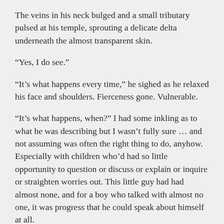The veins in his neck bulged and a small tributary pulsed at his temple, sprouting a delicate delta underneath the almost transparent skin.
“Yes, I do see.”
“It’s what happens every time,” he sighed as he relaxed his face and shoulders. Fierceness gone. Vulnerable.
“It’s what happens, when?” I had some inkling as to what he was describing but I wasn’t fully sure … and not assuming was often the right thing to do, anyhow. Especially with children who’d had so little opportunity to question or discuss or explain or inquire or straighten worries out. This little guy had had almost none, and for a boy who talked with almost no one, it was progress that he could speak about himself at all.
His eyes sought mine and the rising pink in his cheeks